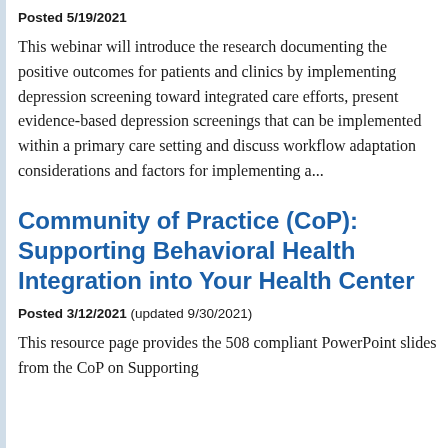Posted 5/19/2021
This webinar will introduce the research documenting the positive outcomes for patients and clinics by implementing depression screening toward integrated care efforts, present evidence-based depression screenings that can be implemented within a primary care setting and discuss workflow adaptation considerations and factors for implementing a...
Community of Practice (CoP): Supporting Behavioral Health Integration into Your Health Center
Posted 3/12/2021  (updated 9/30/2021)
This resource page provides the 508 compliant PowerPoint slides from the CoP on Supporting